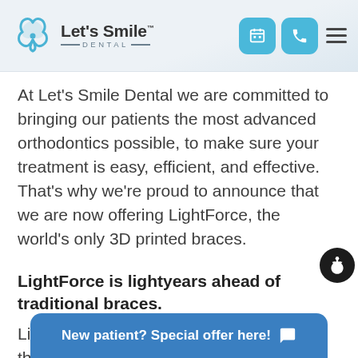[Figure (logo): Let's Smile Dental logo with blue interlocking circular icon and brand name text]
At Let's Smile Dental we are committed to bringing our patients the most advanced orthodontics possible, to make sure your treatment is easy, efficient, and effective. That's why we're proud to announce that we are now offering LightForce, the world's only 3D printed braces.
LightForce is lightyears ahead of traditional braces.
Lig the